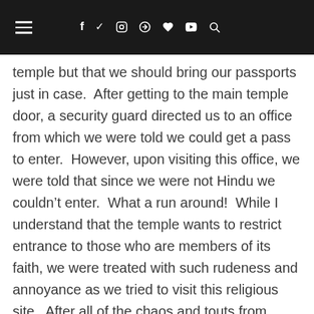navigation bar with hamburger menu, social icons (f, twitter, instagram, pinterest, heart, youtube) and search
temple but that we should bring our passports just in case.  After getting to the main temple door, a security guard directed us to an office from which we were told we could get a pass to enter.  However, upon visiting this office, we were told that since we were not Hindu we couldn't enter.  What a run around!  While I understand that the temple wants to restrict entrance to those who are members of its faith, we were treated with such rudeness and annoyance as we tried to visit this religious site.  After all of the chaos and touts from Manikarnika, it was discouraging to find more disappointment at Vishwanath.  For two people respectful of other religions and very interested in learning more and exploring other faiths, we were saddened with the way that we were